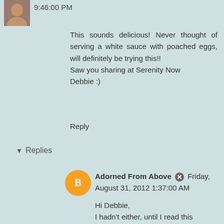9:46:00 PM
This sounds delicious! Never thought of serving a white sauce with poached eggs, will definitely be trying this!! Saw you sharing at Serenity Now Debbie :)
Reply
▾ Replies
Adorned From Above  Friday, August 31, 2012 1:37:00 AM
Hi Debbie,
I hadn't either, until I read this recipe. It was really good. Let me know what you think. Thanks for stopping by.
Debi
Reply
Full Circle Creations  Sunday, August 26, 2012 10:41:00